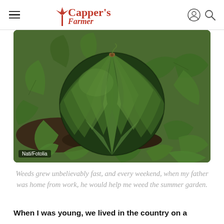Capper's Farmer — Practical Advice for the Homemade Life · Since 1893
[Figure (photo): A large round watermelon with dark green and lighter green stripes resting on dark soil, surrounded by broad watermelon plant leaves. Photo credit: Nati/Fotolia.]
Nati/Fotolia
Weeds grew unbelievably fast, and every weekend, when my father was home from work, he would help me weed the summer garden.
When I was young, we lived in the country on a